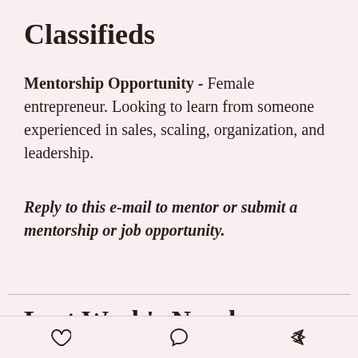Classifieds
Mentorship Opportunity - Female entrepreneur. Looking to learn from someone experienced in sales, scaling, organization, and leadership.
Reply to this e-mail to mentor or submit a mentorship or job opportunity.
Last Week's Numbers
Weekly subscribers: 141 (+3)